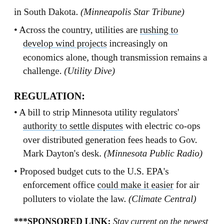in South Dakota. (Minneapolis Star Tribune)
Across the country, utilities are rushing to develop wind projects increasingly on economics alone, though transmission remains a challenge. (Utility Dive)
REGULATION:
A bill to strip Minnesota utility regulators' authority to settle disputes with electric co-ops over distributed generation fees heads to Gov. Mark Dayton's desk. (Minnesota Public Radio)
Proposed budget cuts to the U.S. EPA's enforcement office could make it easier for air polluters to violate the law. (Climate Central)
***SPONSORED LINK: Stay current on the newest...